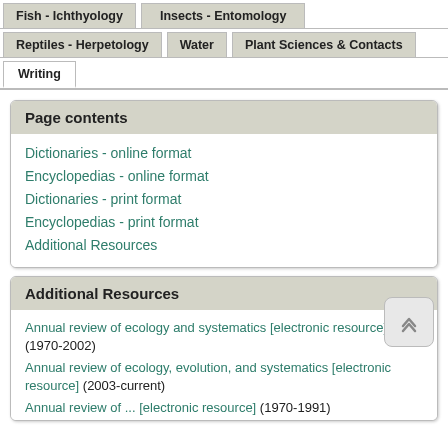Fish - Ichthyology
Insects - Entomology
Reptiles - Herpetology
Water
Plant Sciences & Contacts
Writing
Page contents
Dictionaries - online format
Encyclopedias - online format
Dictionaries - print format
Encyclopedias - print format
Additional Resources
Additional Resources
Annual review of ecology and systematics [electronic resource] (1970-2002)
Annual review of ecology, evolution, and systematics [electronic resource] (2003-current)
Annual review of ... [electronic resource] (1970-1991)